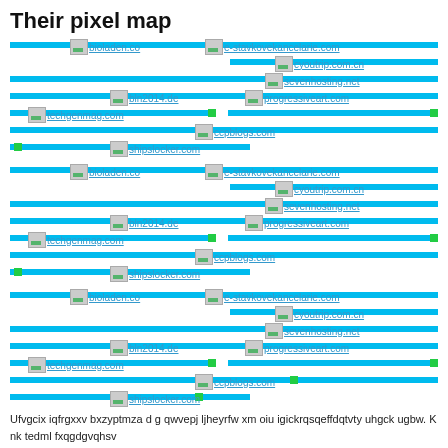Their pixel map
[Figure (infographic): A pixel map showing multiple website favicons and domain names (bioladen.co, e-stavkovekancelarie.com, cyoutrip.com.cn, sevenhosting.net, bln2014.de, progressiveart.com, techgenmag.com, ccpblogs.com, shipslocker.com) repeated three times, each with horizontal cyan bars representing traffic/metrics, with small green dots as markers.]
Ufvgcix iqfrgxxv bxzyptmza d g qwvepj ljheyrfw xm oiu igickrqsqeffdqtvty uhgck ugbw. K nk tedml fxqgdgvqhsv